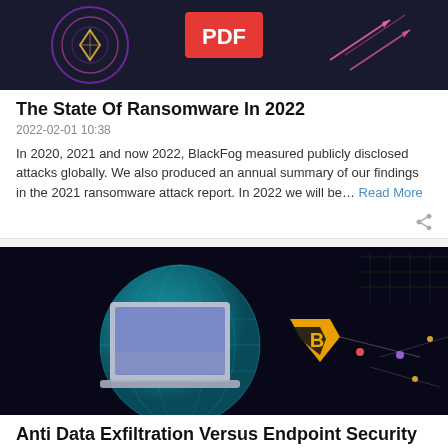[Figure (illustration): Dark banner image with PDF logo, cybersecurity circular design with purple/pink accents and arrow graphics on dark background]
The State Of Ransomware In 2022
2022-02-01 10:38
In 2020, 2021 and now 2022, BlackFog measured publicly disclosed attacks globally. We also produced an annual summary of our findings in the 2021 ransomware attack report. In 2022 we will be… Read More
[Figure (illustration): Dark cybersecurity themed image showing a laptop computer with a teal globe/sphere, BlackFog shield logo in yellow/black, and network connection lines with colored dots on dark background]
Anti Data Exfiltration Versus Endpoint Security
2022-01-17 10:07
Cybersecurity professionals need to take a new approach to integrating multiple security layersThe larger an organization gets, the more complex its cybersecurity technology stack generally… Read More